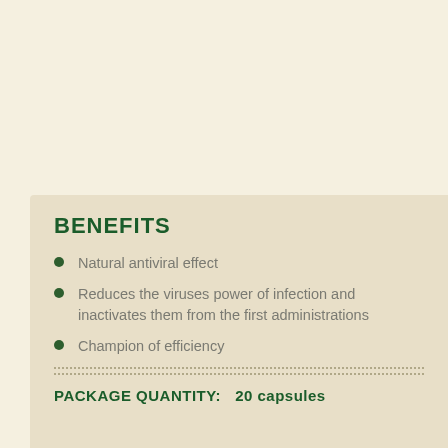BENEFITS
Natural antiviral effect
Reduces the viruses power of infection and inactivates them from the first administrations
Champion of efficiency
PACKAGE QUANTITY:  20 capsules